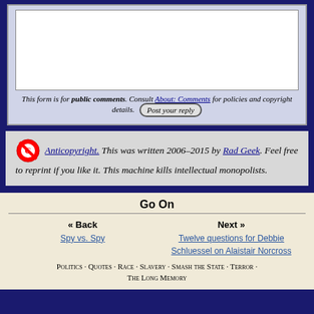This form is for public comments. Consult About: Comments for policies and copyright details. [Post your reply]
Anticopyright. This was written 2006–2015 by Rad Geek. Feel free to reprint if you like it. This machine kills intellectual monopolists.
Go On
« Back — Spy vs. Spy
Next » — Twelve questions for Debbie Schluessel on Alaistair Norcross
Politics · Quotes · Race · Slavery · Smash the State · Terror · The Long Memory